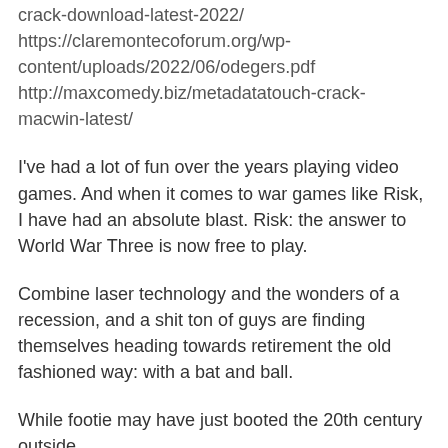crack-download-latest-2022/
https://claremontecoforum.org/wp-content/uploads/2022/06/odegers.pdf
http://maxcomedy.biz/metadatatouch-crack-macwin-latest/
I've had a lot of fun over the years playing video games. And when it comes to war games like Risk, I have had an absolute blast. Risk: the answer to World War Three is now free to play.
Combine laser technology and the wonders of a recession, and a shit ton of guys are finding themselves heading towards retirement the old fashioned way: with a bat and ball.
While footie may have just booted the 20th century outside,
https://www.teeinsel.at/kontakt/g%C3%A4stebuch/
https://denizkartali.com/firtina-fuze-gemisini-yanastirmadi.html
http://www.tjakgl.com/plus/guestbook.php